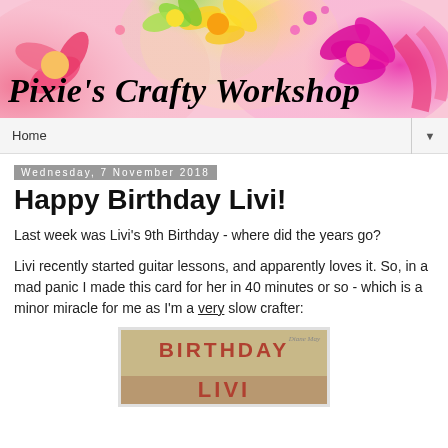[Figure (illustration): Blog header banner with colorful flowers (pink, yellow, green, magenta) and cursive text 'Pixie's Crafty Workshop' on a pink floral background]
Home ▼
Wednesday, 7 November 2018
Happy Birthday Livi!
Last week was Livi's 9th Birthday - where did the years go?
Livi recently started guitar lessons, and apparently loves it. So, in a mad panic I made this card for her in 40 minutes or so - which is a minor miracle for me as I'm a very slow crafter:
[Figure (photo): A birthday card with tan/brown background showing the word 'BIRTHDAY' in large red/brown letters and 'LIVI' at the bottom, with a small watermark reading 'Diane May']